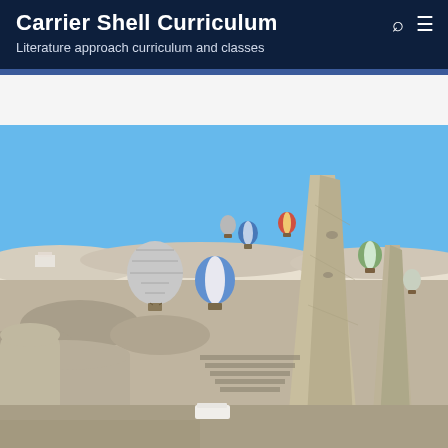Carrier Shell Curriculum
Literature approach curriculum and classes
[Figure (photo): Landscape photo of Cappadocia, Turkey showing rocky fairy chimney formations in the foreground and numerous colorful hot air balloons floating in a clear blue sky in the background.]